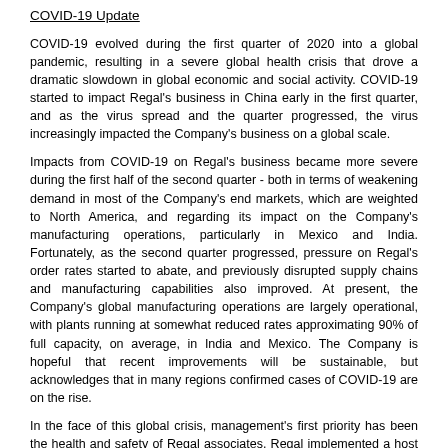COVID-19 Update
COVID-19 evolved during the first quarter of 2020 into a global pandemic, resulting in a severe global health crisis that drove a dramatic slowdown in global economic and social activity. COVID-19 started to impact Regal's business in China early in the first quarter, and as the virus spread and the quarter progressed, the virus increasingly impacted the Company's business on a global scale.
Impacts from COVID-19 on Regal's business became more severe during the first half of the second quarter - both in terms of weakening demand in most of the Company's end markets, which are weighted to North America, and regarding its impact on the Company's manufacturing operations, particularly in Mexico and India. Fortunately, as the second quarter progressed, pressure on Regal's order rates started to abate, and previously disrupted supply chains and manufacturing capabilities also improved. At present, the Company's global manufacturing operations are largely operational, with plants running at somewhat reduced rates approximating 90% of full capacity, on average, in India and Mexico. The Company is hopeful that recent improvements will be sustainable, but acknowledges that in many regions confirmed cases of COVID-19 are on the rise.
In the face of this global crisis, management's first priority has been the health and safety of Regal associates. Regal implemented a host of measures to help its associates stay safe - measures that have been